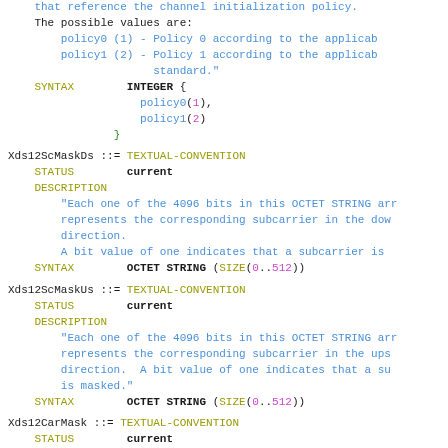that reference the channel initialization policy...
The possible values are:
  policy0 (1) - Policy 0 according to the applicable standard."
  policy1 (2) - Policy 1 according to the applicable standard."
SYNTAX     INTEGER {
               policy0(1),
               policy1(2)
           }
Xds12ScMaskDs ::= TEXTUAL-CONVENTION
   STATUS        current
   DESCRIPTION
       "Each one of the 4096 bits in this OCTET STRING array represents the corresponding subcarrier in the downstream direction.
       A bit value of one indicates that a subcarrier is masked."
   SYNTAX        OCTET STRING (SIZE(0..512))
Xds12ScMaskUs ::= TEXTUAL-CONVENTION
   STATUS        current
   DESCRIPTION
       "Each one of the 4096 bits in this OCTET STRING array represents the corresponding subcarrier in the upstream direction.  A bit value of one indicates that a subcarrier is masked."
   SYNTAX        OCTET STRING (SIZE(0..512))
Xds12CarMask ::= TEXTUAL-CONVENTION
   STATUS        current
   DESCRIPTION